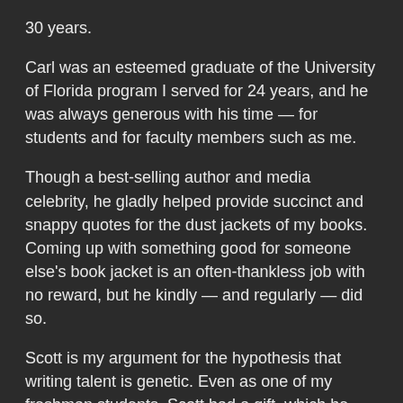30 years.
Carl was an esteemed graduate of the University of Florida program I served for 24 years, and he was always generous with his time — for students and for faculty members such as me.
Though a best-selling author and media celebrity, he gladly helped provide succinct and snappy quotes for the dust jackets of my books. Coming up with something good for someone else's book jacket is an often-thankless job with no reward, but he kindly — and regularly — did so.
Scott is my argument for the hypothesis that writing talent is genetic. Even as one of my freshman students, Scott had a gift, which he has since shared with thousands of readers.